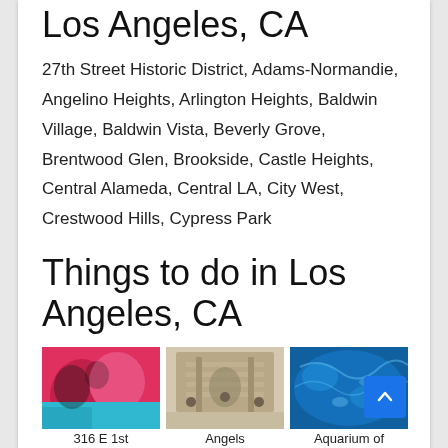Los Angeles, CA
27th Street Historic District, Adams-Normandie, Angelino Heights, Arlington Heights, Baldwin Village, Baldwin Vista, Beverly Grove, Brentwood Glen, Brookside, Castle Heights, Central Alameda, Central LA, City West, Crestwood Hills, Cypress Park
Things to do in Los Angeles, CA
[Figure (photo): Colorful mural art with red and blue tones]
316 E 1st
[Figure (photo): People on a walkway or escalator structure]
Angels
[Figure (photo): Aquarium interior with blue water and fish]
Aquarium of